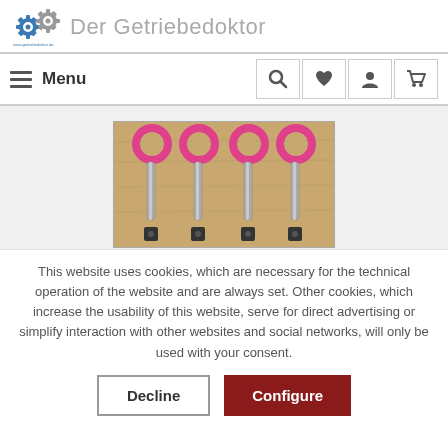Der Getriebedoktor
[Figure (logo): Gear/cog logo for Der Getriebedoktor website with blue and grey gear icons]
[Figure (photo): Four sets of pink/magenta anodized aluminum rings with metal pins/rods and black spacers laid out on a wooden surface]
This website uses cookies, which are necessary for the technical operation of the website and are always set. Other cookies, which increase the usability of this website, serve for direct advertising or simplify interaction with other websites and social networks, will only be used with your consent.
Decline
Configure